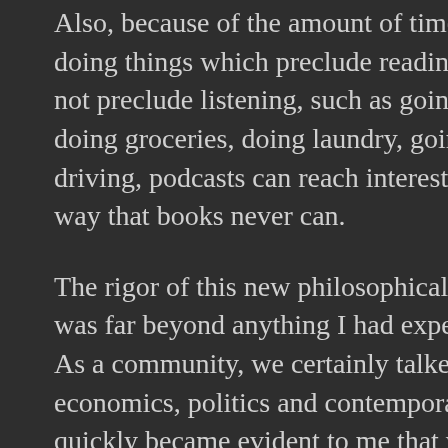Also, because of the amount of time people spend doing things which preclude reading, but which do not preclude listening, such as going to the gym, doing groceries, doing laundry, going for a walk, or driving, podcasts can reach interested parties in a way that books never can.
The rigor of this new philosophical conversation was far beyond anything I had experienced before. As a community, we certainly talked about economics, politics and contemporary events, but it quickly became evident to me that where there is disagreement on fundamentals, there can be no real agreement on details — and that, relative to metaphysics,